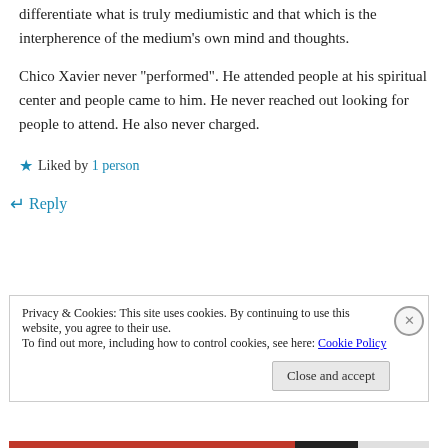differentiate what is truly mediumistic and that which is the interpherence of the medium’s own mind and thoughts.
Chico Xavier never “performed”. He attended people at his spiritual center and people came to him. He never reached out looking for people to attend. He also never charged.
★ Liked by 1 person
↵ Reply
Privacy & Cookies: This site uses cookies. By continuing to use this website, you agree to their use.
To find out more, including how to control cookies, see here: Cookie Policy
Close and accept